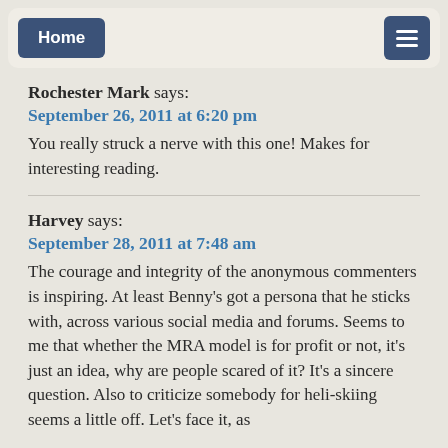Home | [menu]
Rochester Mark says:
September 26, 2011 at 6:20 pm
You really struck a nerve with this one! Makes for interesting reading.
Harvey says:
September 28, 2011 at 7:48 am
The courage and integrity of the anonymous commenters is inspiring. At least Benny's got a persona that he sticks with, across various social media and forums. Seems to me that whether the MRA model is for profit or not, it's just an idea, why are people scared of it? It's a sincere question. Also to criticize somebody for heli-skiing seems a little off. Let's face it, as